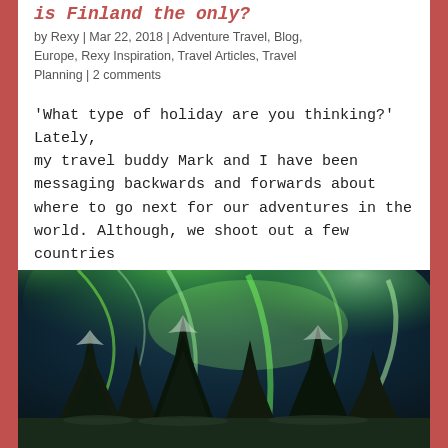is Finland the only?
by Rexy | Mar 22, 2018 | Adventure Travel, Blog, Europe, Rexy Inspiration, Travel Articles, Travel Planning | 2 comments
'What type of holiday are you thinking?' Lately, my travel buddy Mark and I have been messaging backwards and forwards about where to go next for our adventures in the world. Although, we shoot out a few countries such as Estonia, Greece or even Malta,...
[Figure (photo): Northern lights (aurora borealis) display with green streaks over snow-covered pine trees at night]